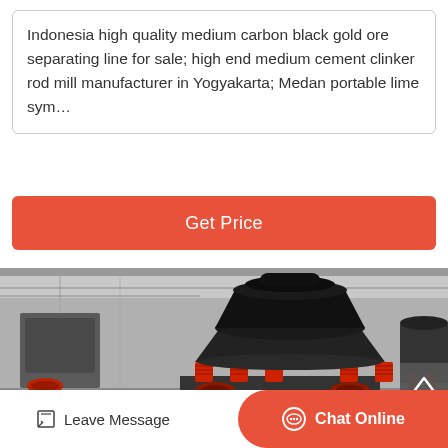Indonesia high quality medium carbon black gold ore separating line for sale; high end medium cement clinker rod mill manufacturer in Yogyakarta; Medan portable lime sym…
[Figure (other): Button: Get Price on red/orange background]
[Figure (photo): Industrial cone crusher machines in a factory setting. Large black cone crushers with red hydraulic cylinders at the base, multiple units lined up in an industrial shed.]
Leave Message
Chat Online